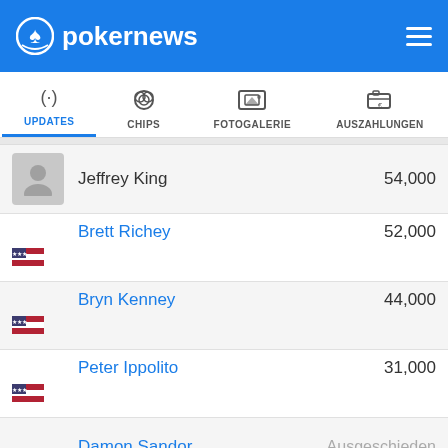pokernews
[Figure (screenshot): Navigation tabs: UPDATES (active, blue underline), CHIPS, FOTOGALERIE, AUSZAHLUNGEN with icons]
Jeffrey King — 54,000
Brett Richey — 52,000
Bryn Kenney — 44,000
Peter Ippolito — 31,000
Damon Sandor — Ausgeschieden